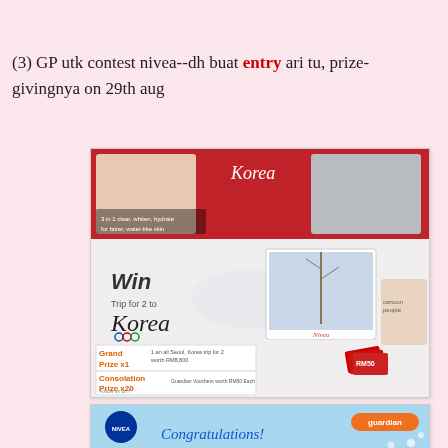(3) GP utk contest nivea--dh buat entry ari tu, prize-givingnya on 29th aug
[Figure (photo): Nivea Korea contest promotional poster showing 'Win Trip for 2 to Korea', Grand Prize x1 Seoul Korea trip and Consolation Prize x20 Guardian Vouchers worth RM50 each, with NIVEA product images and winter Korea photos]
[Figure (photo): Congratulations card from NIVEA and Guardian with floral design and the word Congratulations in blue cursive script]